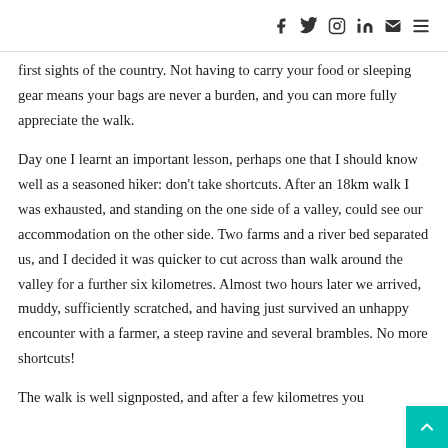Social media icons: Facebook, Twitter, Instagram, LinkedIn, Email, Menu
first sights of the country. Not having to carry your food or sleeping gear means your bags are never a burden, and you can more fully appreciate the walk.
Day one I learnt an important lesson, perhaps one that I should know well as a seasoned hiker: don't take shortcuts. After an 18km walk I was exhausted, and standing on the one side of a valley, could see our accommodation on the other side. Two farms and a river bed separated us, and I decided it was quicker to cut across than walk around the valley for a further six kilometres. Almost two hours later we arrived, muddy, sufficiently scratched, and having just survived an unhappy encounter with a farmer, a steep ravine and several brambles. No more shortcuts!
The walk is well signposted, and after a few kilometres you